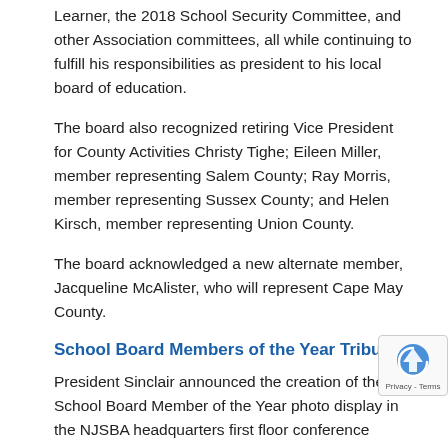Learner, the 2018 School Security Committee, and other Association committees, all while continuing to fulfill his responsibilities as president to his local board of education.
The board also recognized retiring Vice President for County Activities Christy Tighe; Eileen Miller, member representing Salem County; Ray Morris, member representing Sussex County; and Helen Kirsch, member representing Union County.
The board acknowledged a new alternate member, Jacqueline McAlister, who will represent Cape May County.
School Board Members of the Year Tribute
President Sinclair announced the creation of the School Board Member of the Year photo display in the NJSBA headquarters first floor conference room.  During the public comment session at the March Board of Directors meeting, it was suggested that we honor the state's school board members of the year in the same way as the NJSBA past presidents, with a photo di... The new display, with photographs of the 14 New Jersey board members of the year, was unveiled.  There will als... luncheon for the past Board Member of the Year recipients on